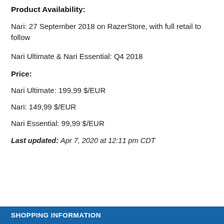Product Availability:
Nari: 27 September 2018 on RazerStore, with full retail to follow
Nari Ultimate & Nari Essential: Q4 2018
Price:
Nari Ultimate: 199,99 $/EUR
Nari: 149,99 $/EUR
Nari Essential: 99,99 $/EUR
Last updated: Apr 7, 2020 at 12:11 pm CDT
SHOPPING INFORMATION